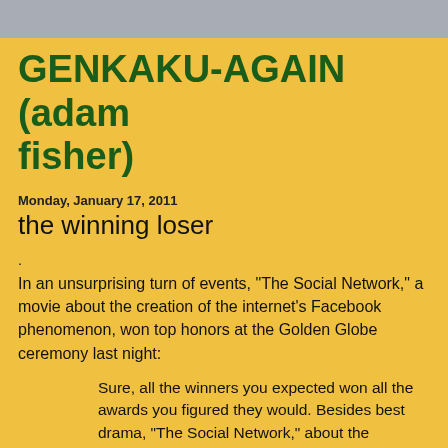GENKAKU-AGAIN (adam fisher)
Monday, January 17, 2011
the winning loser
.
In an unsurprising turn of events, "The Social Network," a movie about the creation of the internet's Facebook phenomenon, won top honors at the Golden Globe ceremony last night:
Sure, all the winners you expected won all the awards you figured they would. Besides best drama, "The Social Network," about the founding of Facebook, won for David Fincher's direction, Aaron Sorkin's script and the score from Trent Reznor and Atticus Ross. After receiving top honors